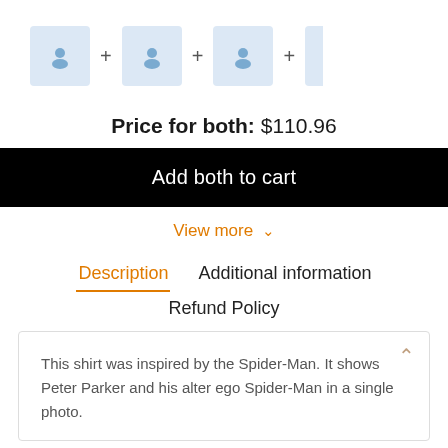[Figure (other): Row of product thumbnail images with plus signs between them, partially cut off on the right]
Price for both: $110.96
Add both to cart
View more ∨
Description
Additional information
Refund Policy
This shirt was inspired by the Spider-Man. It shows Peter Parker and his alter ego Spider-Man in a single photo.